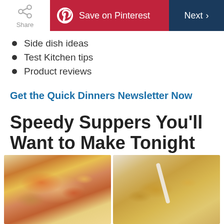Share | Save on Pinterest | Next
Side dish ideas
Test Kitchen tips
Product reviews
Get the Quick Dinners Newsletter Now
Speedy Suppers You'll Want to Make Tonight
[Figure (photo): Two food photos side by side: left shows a cheesy vegetable casserole bake in a white baking dish; right shows mac and cheese in a round pot with a white spoon.]